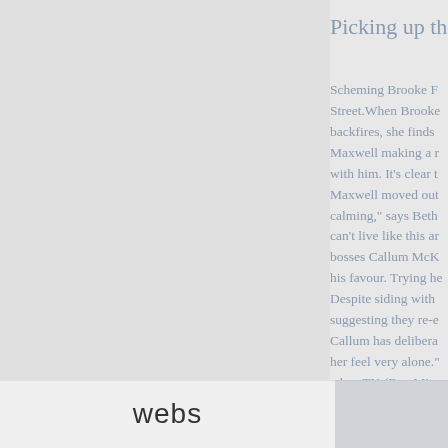Picking up the
Scheming Brooke F
Street.When Brooke
backfires, she finds
Maxwell making a r
with him. It's clear t
Maxwell moved out
calming," says Beth
can't live like this ar
bosses Callum McK
his favour. Trying he
Despite siding with
suggesting they re-e
Callum has delibera
her feel very alone."
when TK (Ben Mitc
support, Brooke rea
pick herself up from
TV guide NZ
with thanks to Emm
webs